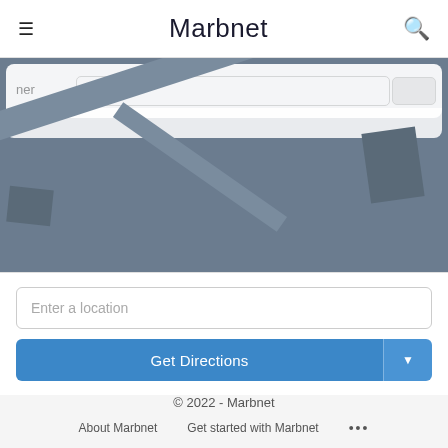≡  Marbnet  🔍
[Figure (map): A map screenshot showing streets and buildings in a dark blue-grey color scheme, with a search/filter card overlay at the top.]
Enter a location
Get Directions
© 2022 - Marbnet
About Marbnet   Get started with Marbnet   ...